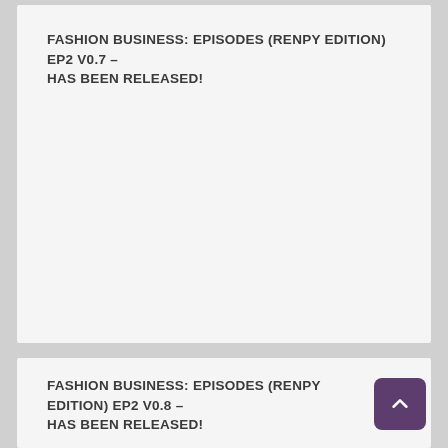FASHION BUSINESS: EPISODES (RENPY EDITION) EP2 V0.7 – HAS BEEN RELEASED!
FASHION BUSINESS: EPISODES (RENPY EDITION) EP2 V0.8 – HAS BEEN RELEASED!